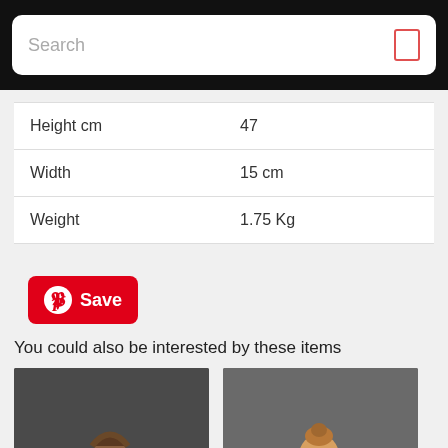| Property | Value |
| --- | --- |
| Height cm | 47 |
| Width | 15 cm |
| Weight | 1.75 Kg |
[Figure (illustration): Pinterest Save button with Pinterest logo]
You could also be interested by these items
[Figure (photo): Photograph of a carved wooden African figurine standing upright, dark brown, against grey background]
[Figure (photo): Photograph of a carved wooden African figurine, lighter brown, standing, against grey background]
[Figure (photo): Partially visible photograph of another item at bottom left]
[Figure (photo): Partially visible photograph of another item at bottom right]